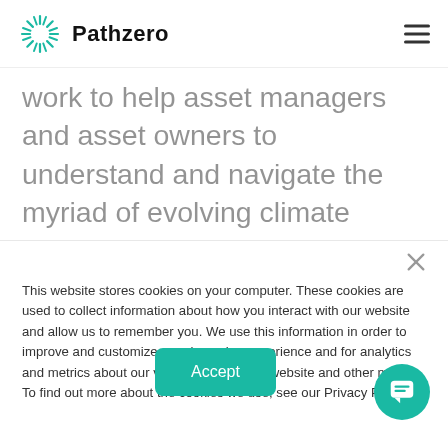Pathzero
work to help asset managers and asset owners to understand and navigate the myriad of evolving climate reporting and disclosure requirements and provide counsel that puts them on a path to net zero emissions and
This website stores cookies on your computer. These cookies are used to collect information about how you interact with our website and allow us to remember you. We use this information in order to improve and customize your browsing experience and for analytics and metrics about our visitors both on this website and other media. To find out more about the cookies we use, see our Privacy Policy